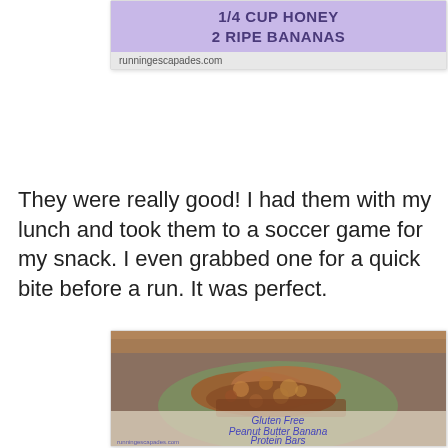[Figure (screenshot): Recipe card snippet with purple background showing '1/4 CUP HONEY' and '2 RIPE BANANAS' in bold text, with runningescapades.com watermark on a gray bar below]
They were really good! I had them with my lunch and took them to a soccer game for my snack. I even grabbed one for a quick bite before a run. It was perfect.
[Figure (photo): Photo of Gluten Free Peanut Butter Banana Protein Bars on a green plate, with text overlay reading 'Gluten Free Peanut Butter Banana Protein Bars' and runningescapades.com watermark]